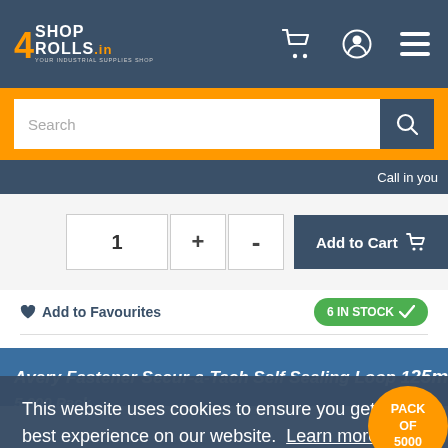4SHOP4ROLLS.in - Your Industrial Supplies Shop
Search
Call in you
1 + - Add to Cart
Add to Favourites
6 IN STOCK
Avery Fastener Secur-a-Tach Self Sealing Loop 125mm 5,000 Pack
This website uses cookies to ensure you get the best experience on our website. Learn more
Got it!
PACK OF 5000